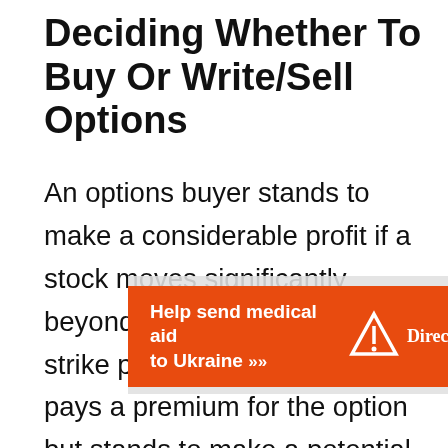Deciding Whether To Buy Or Write/Sell Options
An options buyer stands to make a considerable profit if a stock moves significantly beyond the predetermined strike price. The options buyer pays a premium for the option but stands to make a potential
[Figure (other): Advertisement banner for Direct Relief - Help send medical aid to Ukraine with orange background and Direct Relief logo]